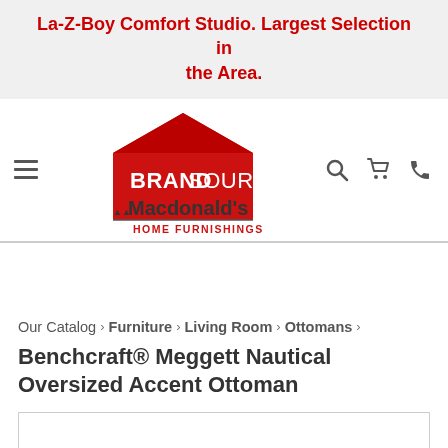La-Z-Boy Comfort Studio. Largest Selection in the Area.
[Figure (logo): BrandSource Macdonald's Home Furnishings logo with hamburger menu, search, cart, and phone icons]
Our Catalog › Furniture › Living Room › Ottomans
Benchcraft® Meggett Nautical Oversized Accent Ottoman